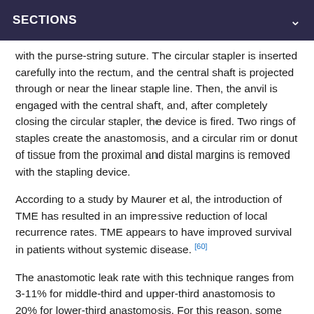SECTIONS
with the purse-string suture. The circular stapler is inserted carefully into the rectum, and the central shaft is projected through or near the linear staple line. Then, the anvil is engaged with the central shaft, and, after completely closing the circular stapler, the device is fired. Two rings of staples create the anastomosis, and a circular rim or donut of tissue from the proximal and distal margins is removed with the stapling device.
According to a study by Maurer et al, the introduction of TME has resulted in an impressive reduction of local recurrence rates. TME appears to have improved survival in patients without systemic disease. [60]
The anastomotic leak rate with this technique ranges from 3-11% for middle-third and upper-third anastomosis to 20% for lower-third anastomosis. For this reason, some surgeons choose to protect the lower-third anastomosis by creating a temporary diverting stoma. This is especially important when patients have received preoperative radiation therapy. The use of a proximal diverting stoma does